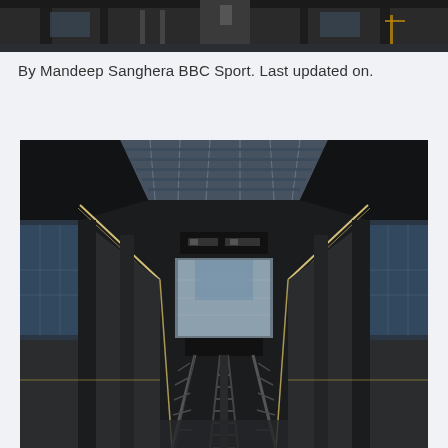[Figure (photo): Top portion of a photograph showing an urban/architectural scene, partially visible at top of page]
By Mandeep Sanghera BBC Sport. Last updated on.
[Figure (photo): Interior of a large modern transit terminal or airport, showing escalators and stairs leading upward in the center, with glass windows on both sides revealing a bright exterior, dark concrete columns, and a glass ceiling with structural supports. The perspective is symmetrical from below looking up.]